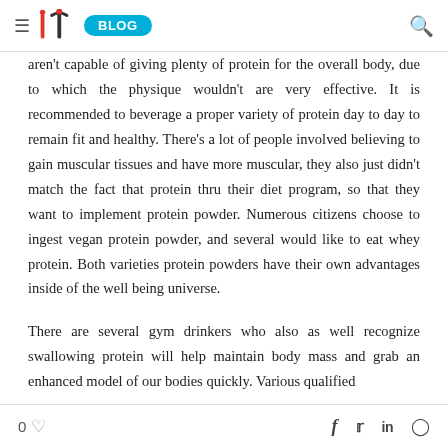≡ ITI BLOG 🔍
aren't capable of giving plenty of protein for the overall body, due to which the physique wouldn't are very effective. It is recommended to beverage a proper variety of protein day to day to remain fit and healthy. There's a lot of people involved believing to gain muscular tissues and have more muscular, they also just didn't match the fact that protein thru their diet program, so that they want to implement protein powder. Numerous citizens choose to ingest vegan protein powder, and several would like to eat whey protein. Both varieties protein powders have their own advantages inside of the well being universe.
There are several gym drinkers who also as well recognize swallowing protein will help maintain body mass and grab an enhanced model of our bodies quickly. Various qualified
0 ♡   f   𝕏   in   ⊕